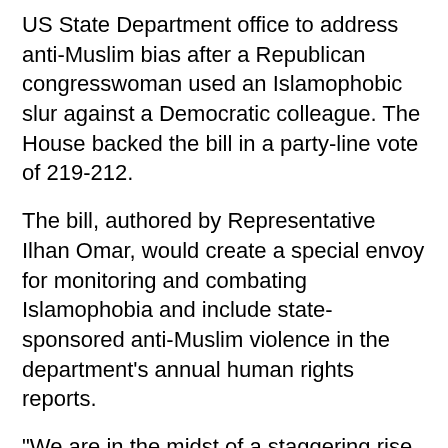US State Department office to address anti-Muslim bias after a Republican congresswoman used an Islamophobic slur against a Democratic colleague. The House backed the bill in a party-line vote of 219-212.
The bill, authored by Representative Ilhan Omar, would create a special envoy for monitoring and combating Islamophobia and include state-sponsored anti-Muslim violence in the department's annual human rights reports.
"We are in the midst of a staggering rise of anti-Muslim violence and discrimination around the world," Omar said on the House floor.
"Islamophobia is global in scope and we must lead the global effort to address it."
The House vote comes a few weeks after a video emerged showing first-term Republican lawmaker Lauren Boebert calling Omar, a Muslim second-